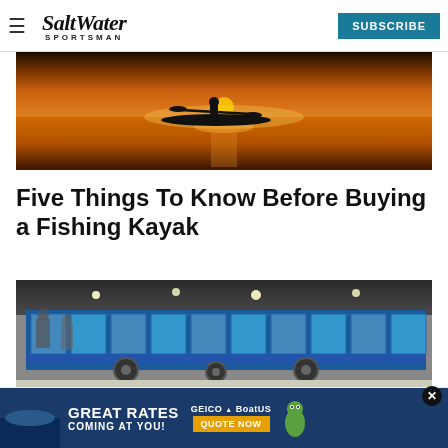Salt Water Sportsman — SUBSCRIBE
[Figure (photo): Silhouette of a person kayaking on calm water at sunset with orange and golden light reflecting off the water]
Five Things To Know Before Buying a Fishing Kayak
[Figure (photo): Convention/trade show floor with a large blue display trailer with aquarium panels, people browsing, bright overhead lighting]
[Figure (infographic): GEICO BoatUS advertisement: GREAT RATES COMING AT YOU! with QUOTE NOW button and gecko mascot]